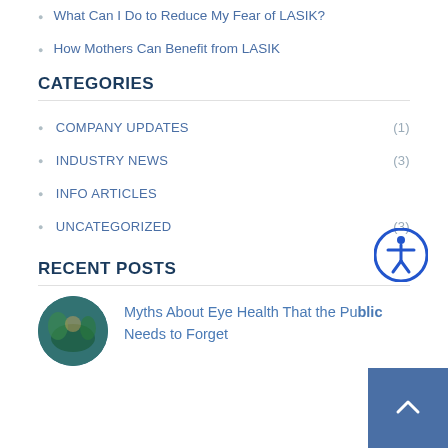What Can I Do to Reduce My Fear of LASIK?
How Mothers Can Benefit from LASIK
CATEGORIES
COMPANY UPDATES (1)
INDUSTRY NEWS (3)
INFO ARTICLES
UNCATEGORIZED (3)
RECENT POSTS
[Figure (photo): Circular thumbnail photo of outdoor nature scene with person]
Myths About Eye Health That the Public Needs to Forget